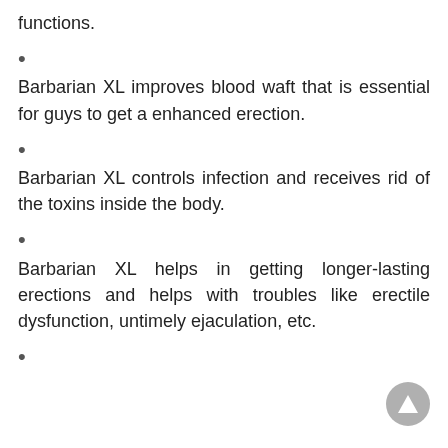functions.
Barbarian XL improves blood waft that is essential for guys to get a enhanced erection.
Barbarian XL controls infection and receives rid of the toxins inside the body.
Barbarian XL helps in getting longer-lasting erections and helps with troubles like erectile dysfunction, untimely ejaculation, etc.